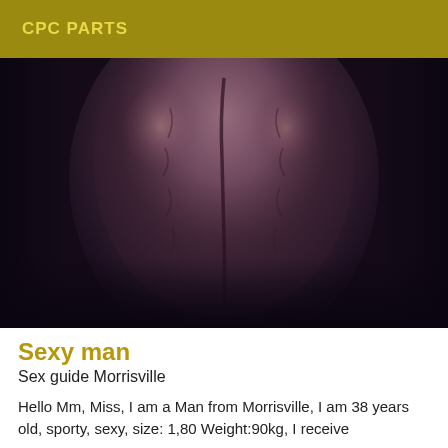CPC PARTS
[Figure (photo): Close-up photo of a male torso/back showing skin and muscle definition in dark lighting with purple-brown tones]
Sexy man
Sex guide Morrisville
Hello Mm, Miss, I am a Man from Morrisville, I am 38 years old, sporty, sexy, size: 1,80 Weight:90kg, I receive